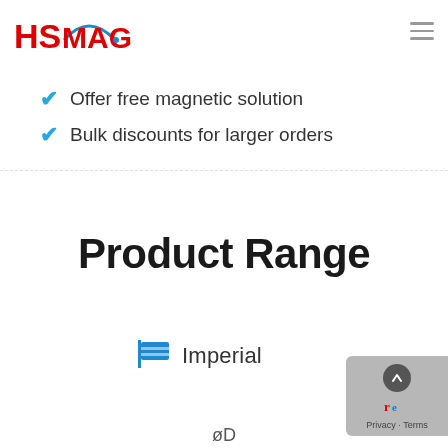[Figure (logo): HSMAG logo with red text and blue arc]
Offer free magnetic solution
Bulk discounts for larger orders
Product Range
Imperial
øD